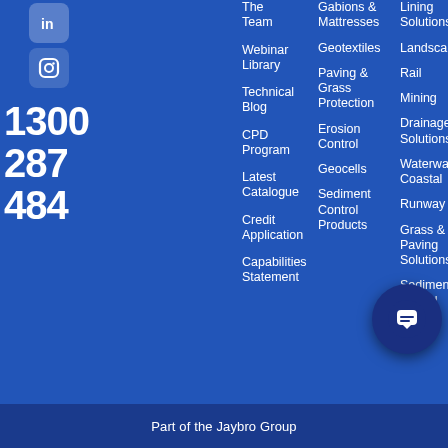[Figure (logo): LinkedIn and Instagram social media icons (white on blue rounded squares)]
1300 287 484
The Team
Webinar Library
Technical Blog
CPD Program
Latest Catalogue
Credit Application
Capabilities Statement
Gabions & Mattresses
Geotextiles
Paving & Grass Protection
Erosion Control
Geocells
Sediment Control Products
Lining Solutions
Landscaping
Rail
Mining
Drainage Solutions
Waterways / Coastal
Runway
Grass & Paving Solutions
Sediment control
Part of the Jaybro Group